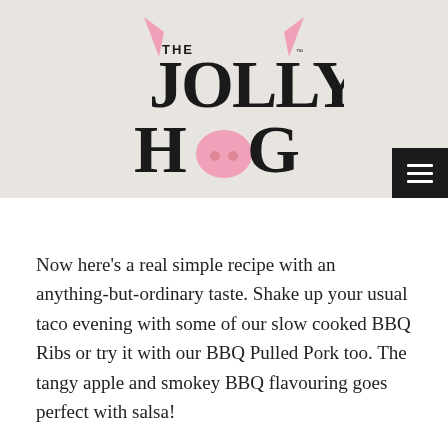[Figure (logo): The Jolly Hog logo with pink pig ears and snout, dark serif lettering]
Now here’s a real simple recipe with an anything-but-ordinary taste. Shake up your usual taco evening with some of our slow cooked BBQ Ribs or try it with our BBQ Pulled Pork too. The tangy apple and smokey BBQ flavouring goes perfect with salsa!